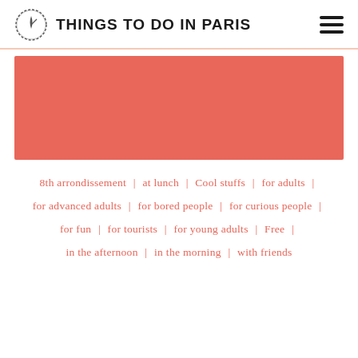THINGS TO DO IN PARIS
[Figure (illustration): Salmon/coral colored rectangular hero image placeholder]
8th arrondissement | at lunch | Cool stuffs | for adults | for advanced adults | for bored people | for curious people | for fun | for tourists | for young adults | Free | in the afternoon | in the morning | with friends